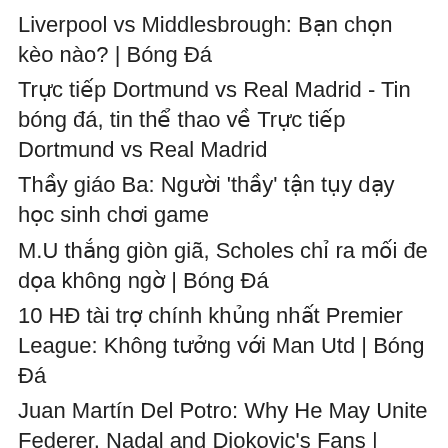Liverpool vs Middlesbrough: Bạn chọn kèo nào? | Bóng Đá
Trực tiếp Dortmund vs Real Madrid - Tin bóng đá, tin thể thao về Trực tiếp Dortmund vs Real Madrid
Thầy giáo Ba: Người 'thầy' tận tụy dạy học sinh chơi game
M.U thắng giòn giã, Scholes chỉ ra mối đe dọa không ngờ | Bóng Đá
10 HĐ tài trợ chính khủng nhất Premier League: Không tưởng với Man Utd | Bóng Đá
Juan Martín Del Potro: Why He May Unite Federer, Nadal and Djokovic&#x27;s Fans | Bleacher Report | Latest News, Videos and Highlights